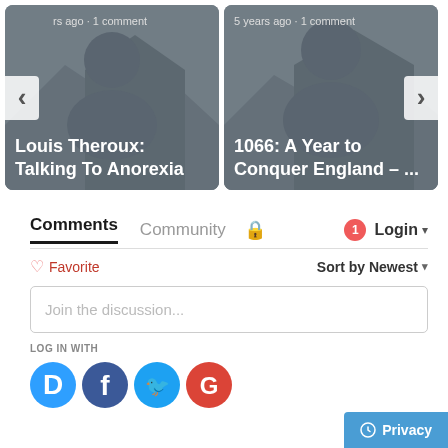[Figure (screenshot): Carousel card: Louis Theroux: Talking To Anorexia — grey thumbnail with person icon, navigation arrow on left, text '...rs ago • 1 comment' at top]
[Figure (screenshot): Carousel card: 1066: A Year to Conquer England – ... — grey thumbnail with person icon, navigation arrow on right, text '5 years ago • 1 comment' at top]
Comments
Community
Login
♡ Favorite
Sort by Newest
Join the discussion...
LOG IN WITH